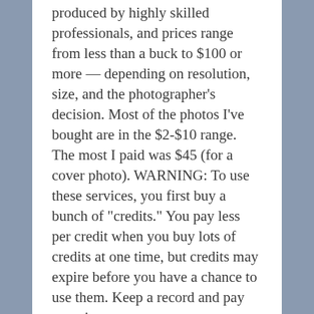produced by highly skilled professionals, and prices range from less than a buck to $100 or more — depending on resolution, size, and the photographer's decision. Most of the photos I've bought are in the $2-$10 range. The most I paid was $45 (for a cover photo). WARNING: To use these services, you first buy a bunch of "credits." You pay less per credit when you buy lots of credits at one time, but credits may expire before you have a chance to use them. Keep a record and pay attention.
9. Free photos are available at various government websites ranging from NASA to the National Institute of Health. www.usa.gov/Topics/Graphics.shtml has links to many free photo sources. Most — but not all